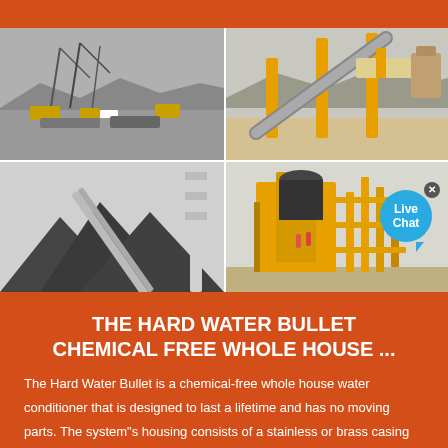[Figure (photo): Four industrial/engineering photos arranged in a 2x2 grid: top-left shows a black-and-white photo of construction cranes and machinery at a waterfront; top-right shows a yellow conveyor belt structure at a mining or quarry site in color; bottom-left shows a conveyor belt carrying dark aggregate material (gravel/coal); bottom-right shows a yellow industrial processing plant structure with workers visible.]
THE HARD WATER BULLET CHEMICAL FREE WHOLE HOUSE ...
The Hard Water Bullet is a chemical-free whole house water conditioner that is designed to last a lifetime and has no moving parts. The system"s housing consists of a stainless or brass casing with PVC unions on the 1.5" model and stainless